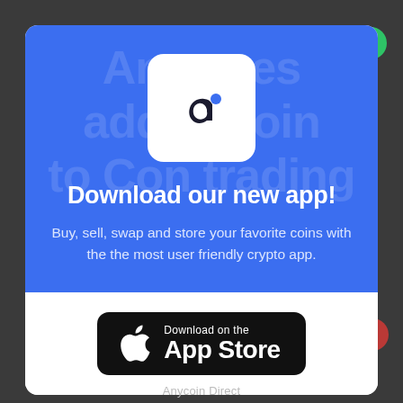[Figure (logo): Anycoin Direct app icon: white rounded square with dark 'a' letter logo and blue dot]
Download our new app!
Buy, sell, swap and store your favorite coins with the the most user friendly crypto app.
[Figure (logo): Download on the App Store button (black rounded rectangle with Apple logo)]
Anycoin Direct